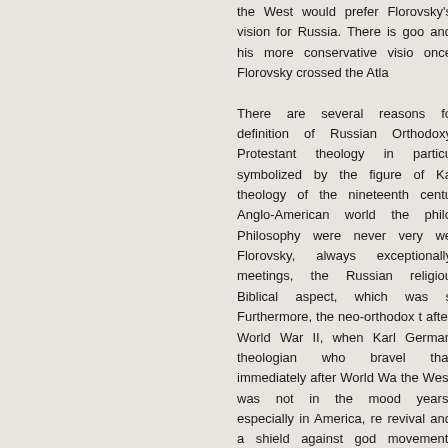the West would prefer Florovsky's vision for Russia. There is good and his more conservative vision once Florovsky crossed the Atla There are several reasons for definition of Russian Orthodoxy Protestant theology in particular symbolized by the figure of Ka theology of the nineteenth centu Anglo-American world the philo Philosophy were never very wel Florovsky, always exceptionally meetings, the Russian religiou Biblical aspect, which was s Furthermore, the neo-orthodox t after World War II, when Karl German theologian who bravel that immediately after World Wa the West was not in the mood years, especially in America, re revival and a shield against god movement, explicitly criticized eliminating the critical elements 24–25). In short, in the 1940s a fairly conservative place in ne presented easily to the great mu